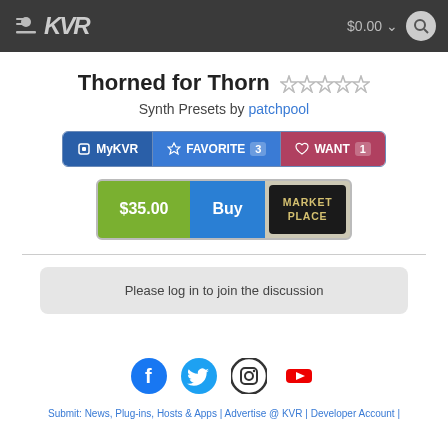KVR Audio — $0.00
Thorned for Thorn
Synth Presets by patchpool
MyKVR | FAVORITE 3 | WANT 1
$35.00 Buy MARKET PLACE
Please log in to join the discussion
[Figure (other): Social media icons: Facebook, Twitter, Instagram, YouTube]
Submit: News, Plug-ins, Hosts & Apps | Advertise @ KVR | Developer Account |